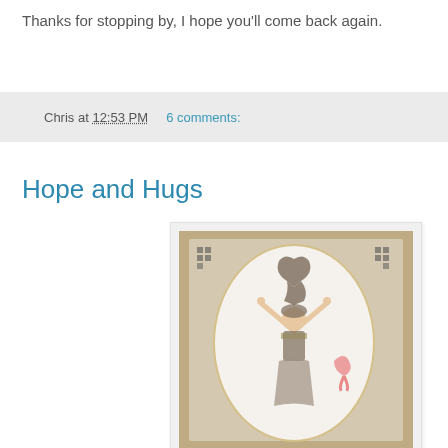Thanks for stopping by, I hope you'll come back again.
Chris at 12:53 PM   6 comments:
Hope and Hugs
[Figure (photo): A handmade greeting card featuring a vintage-style woman figure holding up a decorative awareness ribbon, set against a floral patterned background with an oval frame and corner embellishments.]